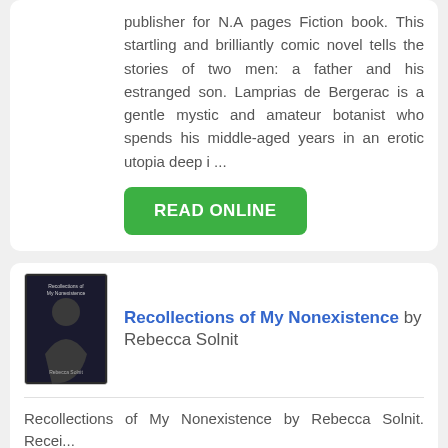publisher for N.A pages Fiction book. This startling and brilliantly comic novel tells the stories of two men: a father and his estranged son. Lamprias de Bergerac is a gentle mystic and amateur botanist who spends his middle-aged years in an erotic utopia deep i ...
READ ONLINE
Recollections of My Nonexistence by Rebecca Solnit
Recollections of My Nonexistence by Rebecca Solnit. Recei...